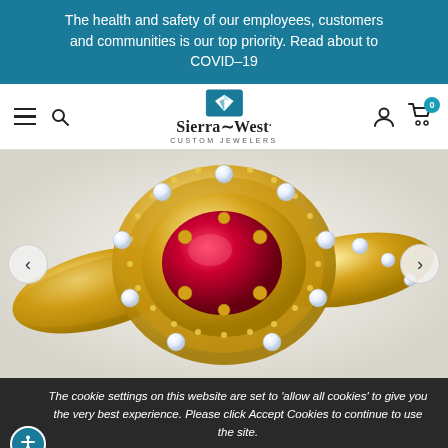The health and safety of our employees, customers and communities is our top priority. Read about to COVID-19
[Figure (logo): Sierra-West Custom Jewelers logo with diamond icon and navigation bar (hamburger menu, search, account, cart with 0 items)]
[Figure (photo): A gold ring with a large oval ruby gemstone center surrounded by diamond halo and milgrain detail on yellow gold band]
The cookie settings on this website are set to 'allow all cookies' to give you the very best experience. Please click Accept Cookies to continue to use the site.
PRIVACY POLICY   ACCEPT ✔